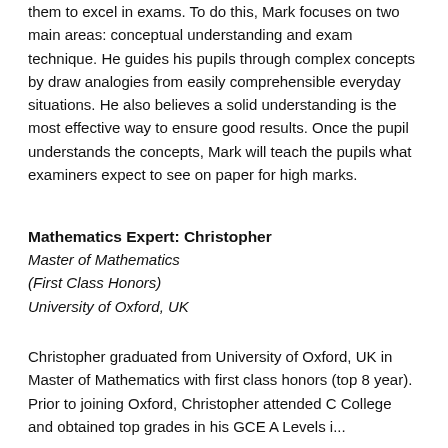them to excel in exams. To do this, Mark focuses on two main areas: conceptual understanding and exam technique. He guides his pupils through complex concepts by draw analogies from easily comprehensible everyday situations. He also believes a solid understanding is the most effective way to ensure good results. Once the pupil understands the concepts, Mark will teach the pupils what examiners expect to see on paper for high marks.
Mathematics Expert: Christopher
Master of Mathematics
(First Class Honors)
University of Oxford, UK
Christopher graduated from University of Oxford, UK in Master of Mathematics with first class honors (top 8 year). Prior to joining Oxford, Christopher attended C College and obtained top grades in his GCE A Levels i...